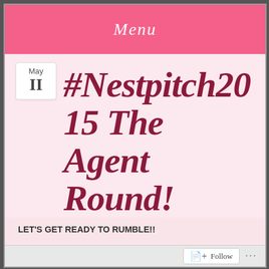Menu
#Nestpitch2015 The Agent Round!
LET'S GET READY TO RUMBLE!!
Welcome to the agent round of nestpitch. This is it, the one you've been waiting for.
Entries have been polished and primed and TeamEvilBunny have worked beyond the first 300 words to make sure they're looking